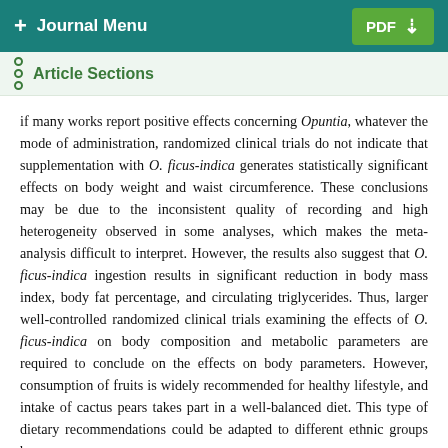+ Journal Menu  PDF ↓
Article Sections
if many works report positive effects concerning Opuntia, whatever the mode of administration, randomized clinical trials do not indicate that supplementation with O. ficus-indica generates statistically significant effects on body weight and waist circumference. These conclusions may be due to the inconsistent quality of recording and high heterogeneity observed in some analyses, which makes the meta-analysis difficult to interpret. However, the results also suggest that O. ficus-indica ingestion results in significant reduction in body mass index, body fat percentage, and circulating triglycerides. Thus, larger well-controlled randomized clinical trials examining the effects of O. ficus-indica on body composition and metabolic parameters are required to conclude on the effects on body parameters. However, consumption of fruits is widely recommended for healthy lifestyle, and intake of cactus pears takes part in a well-balanced diet. This type of dietary recommendations could be adapted to different ethnic groups by incorporating fruiting food items from home diets into the